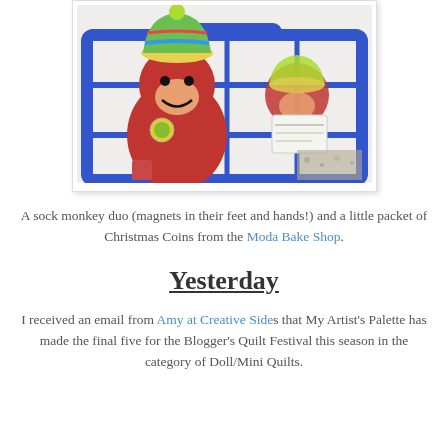[Figure (photo): Two sock monkey stuffed animals (red with colorful knit hats) sitting in a blue plastic basket/cart, with a small tag visible. Photographed from the front.]
A sock monkey duo (magnets in their feet and hands!) and a little packet of Christmas Coins from the Moda Bake Shop.
Yesterday
I received an email from Amy at Creative Sides that My Artist's Palette has made the final five for the Blogger's Quilt Festival this season in the category of Doll/Mini Quilts.